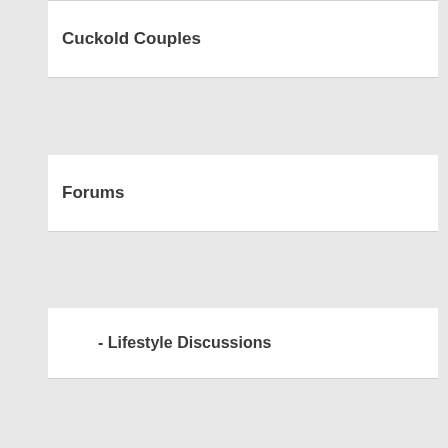Cuckold Couples
Forums
- Lifestyle Discussions
- Getting Started
- Interracial Cuckolding
- Member Success Stories
- True Experiences
- Looking For Someone
- Couples Seeking Men